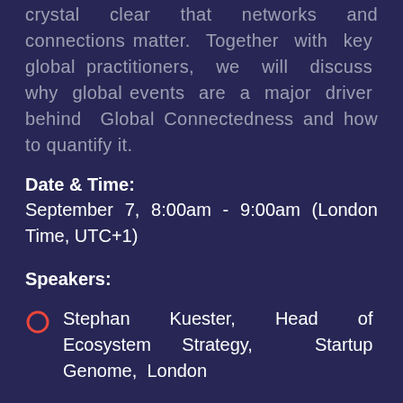crystal clear that networks and connections matter. Together with key global practitioners, we will discuss why global events are a major driver behind Global Connectedness and how to quantify it.
Date & Time:
September 7, 8:00am - 9:00am (London Time, UTC+1)
Speakers:
Stephan Kuester, Head of Ecosystem Strategy, Startup Genome, London